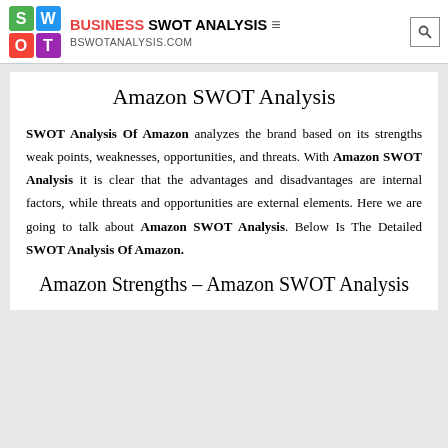BUSINESS SWOT ANALYSIS — bswotanalysis.com
Amazon SWOT Analysis
SWOT Analysis Of Amazon analyzes the brand based on its strengths weak points, weaknesses, opportunities, and threats. With Amazon SWOT Analysis it is clear that the advantages and disadvantages are internal factors, while threats and opportunities are external elements. Here we are going to talk about Amazon SWOT Analysis. Below Is The Detailed SWOT Analysis Of Amazon.
Amazon Strengths – Amazon SWOT Analysis